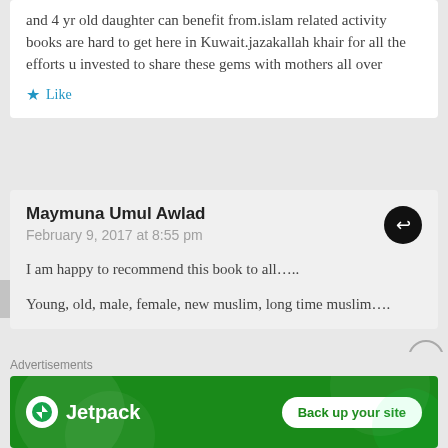and 4 yr old daughter can benefit from.islam related activity books are hard to get here in Kuwait.jazakallah khair for all the efforts u invested to share these gems with mothers all over
Like
Maymuna Umul Awlad
February 9, 2017 at 8:55 pm

I am happy to recommend this book to all…..

Young, old, male, female, new muslim, long time muslim….
Advertisements
[Figure (infographic): Jetpack advertisement banner with green background, Jetpack logo on the left and 'Back up your site' button on the right]